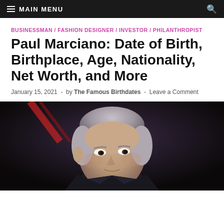≡ MAIN MENU
BUSINESSMAN / FASHION DESIGNER / INVESTOR / PHILANTHROPIST
Paul Marciano: Date of Birth, Birthplace, Age, Nationality, Net Worth, and More
January 15, 2021  -  by The Famous Birthdates  -  Leave a Comment
[Figure (photo): Paul Marciano, an older man with silver-gray hair, wearing a dark suit, seated against a dark background with red lighting elements visible behind him. He is looking slightly downward.]